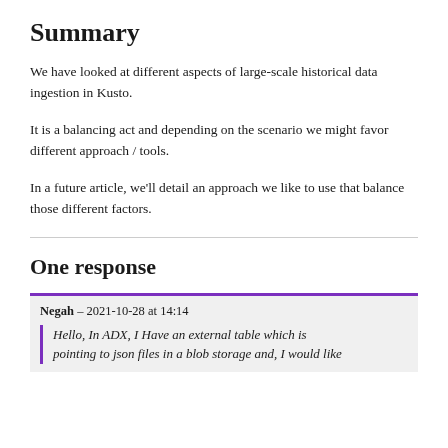Summary
We have looked at different aspects of large-scale historical data ingestion in Kusto.
It is a balancing act and depending on the scenario we might favor different approach / tools.
In a future article, we'll detail an approach we like to use that balance those different factors.
One response
Negah – 2021-10-28 at 14:14
Hello, In ADX, I Have an external table which is pointing to json files in a blob storage and, I would like